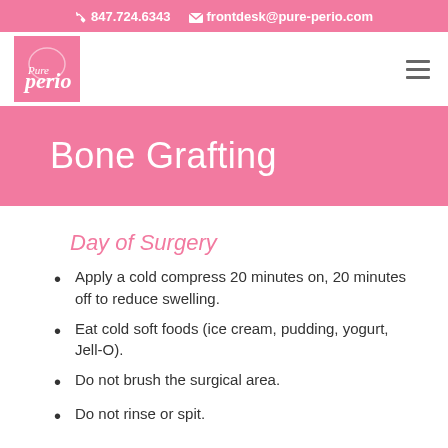847.724.6343  frontdesk@pure-perio.com
[Figure (logo): Pure Perio logo - pink square with stylized P/perio script in white]
Bone Grafting
Day of Surgery
Apply a cold compress 20 minutes on, 20 minutes off to reduce swelling.
Eat cold soft foods (ice cream, pudding, yogurt, Jell-O).
Do not brush the surgical area.
Do not rinse or spit.